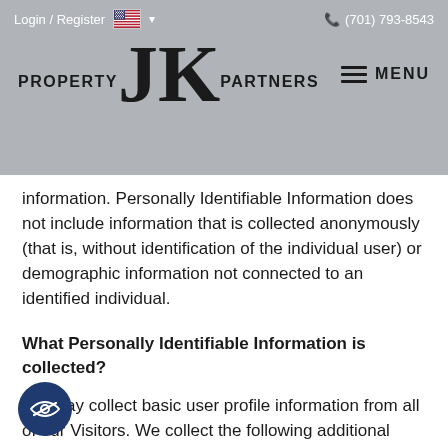Login / Register  (701) 793-8543  JK PROPERTY PARTNERS  MENU
information. Personally Identifiable Information does not include information that is collected anonymously (that is, without identification of the individual user) or demographic information not connected to an identified individual.
What Personally Identifiable Information is collected?
We may collect basic user profile information from all of our Visitors. We collect the following additional information from our Authorized Customers: name, address, phone number, internet protocol address (IP